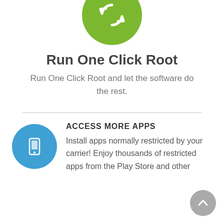[Figure (illustration): Green circle with a white refresh/rotation arrow icon, partially cut off at top]
Run One Click Root
Run One Click Root and let the software do the rest.
[Figure (illustration): Blue circle with a white smartphone/tablet icon]
ACCESS MORE APPS
Install apps normally restricted by your carrier! Enjoy thousands of restricted apps from the Play Store and other